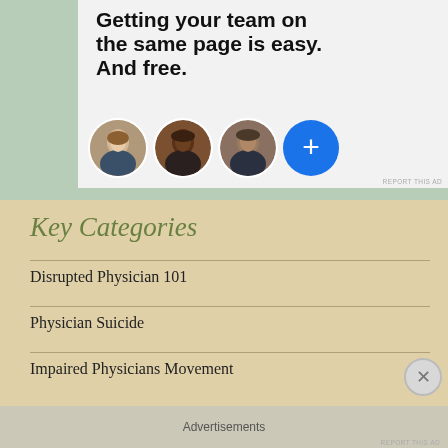[Figure (screenshot): Advertisement banner showing team collaboration app with headline 'Getting your team on the same page is easy. And free.' with three circular avatar photos and a blue plus button]
Key Categories
Disrupted Physician 101
Physician Suicide
Impaired Physicians Movement
Advertisements